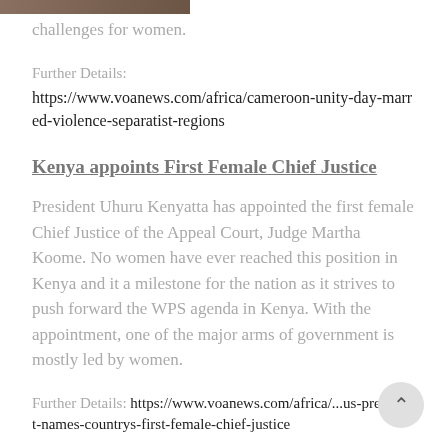challenges for women.
Further Details:
https://www.voanews.com/africa/cameroon-unity-day-marred-violence-separatist-regions
Kenya appoints First Female Chief Justice
President Uhuru Kenyatta has appointed the first female Chief Justice of the Appeal Court, Judge Martha Koome. No women have ever reached this position in Kenya and it a milestone for the nation as it strives to push forward the WPS agenda in Kenya. With the appointment, one of the major arms of government is mostly led by women.
Further Details: https://www.voanews.com/africa/...us-president-names-countrys-first-female-chief-justice